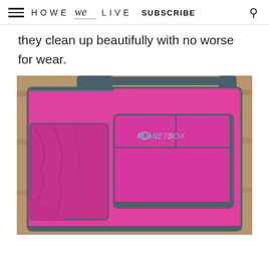HOWE we LIVE  SUBSCRIBE
they clean up beautifully with no worse for wear.
[Figure (photo): Pink PlanetBox lunch bag with grey trim, shoulder strap, front pocket with PlanetBox logo, and side mesh pocket, photographed on a wooden surface.]